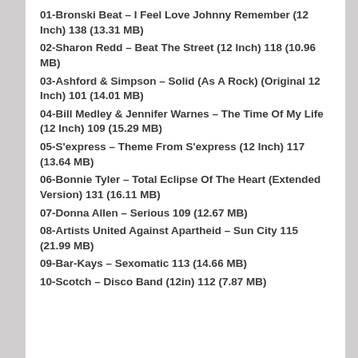01-Bronski Beat – I Feel Love Johnny Remember (12 Inch) 138 (13.31 MB)
02-Sharon Redd – Beat The Street (12 Inch) 118 (10.96 MB)
03-Ashford & Simpson – Solid (As A Rock) (Original 12 Inch) 101 (14.01 MB)
04-Bill Medley & Jennifer Warnes – The Time Of My Life (12 Inch) 109 (15.29 MB)
05-S'express – Theme From S'express (12 Inch) 117 (13.64 MB)
06-Bonnie Tyler – Total Eclipse Of The Heart (Extended Version) 131 (16.11 MB)
07-Donna Allen – Serious 109 (12.67 MB)
08-Artists United Against Apartheid – Sun City 115 (21.99 MB)
09-Bar-Kays – Sexomatic 113 (14.66 MB)
10-Scotch – Disco Band (12in) 112 (7.87 MB)